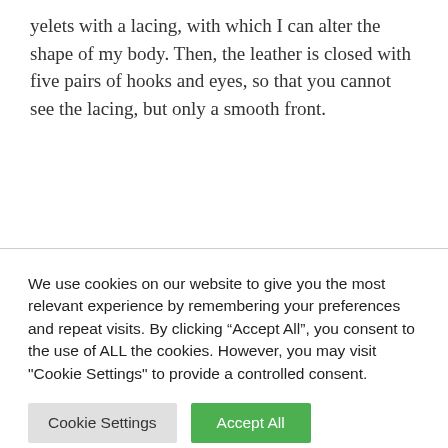yelets with a lacing, with which I can alter the shape of my body. Then, the leather is closed with five pairs of hooks and eyes, so that you cannot see the lacing, but only a smooth front.
We use cookies on our website to give you the most relevant experience by remembering your preferences and repeat visits. By clicking “Accept All”, you consent to the use of ALL the cookies. However, you may visit "Cookie Settings" to provide a controlled consent.